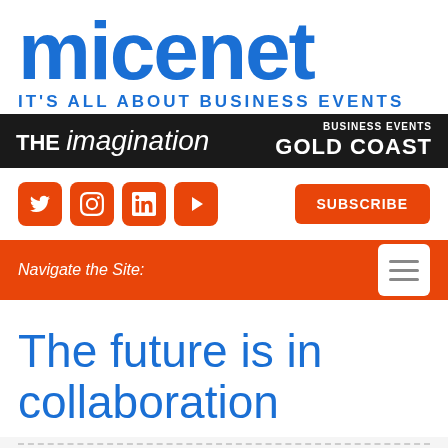micenet
IT'S ALL ABOUT BUSINESS EVENTS
[Figure (infographic): Dark banner advertisement with text 'THE imagination' on the left and 'BUSINESS EVENTS GOLD COAST' on the right, with a photo of people in background]
[Figure (infographic): Social media icons row: Twitter, Instagram, LinkedIn, YouTube (all orange rounded squares), and an orange SUBSCRIBE button on the right]
Navigate the Site:
The future is in collaboration